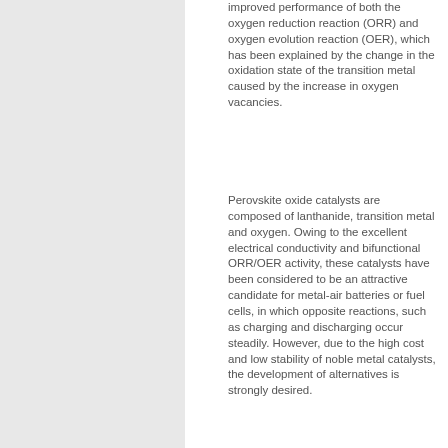improved performance of both the oxygen reduction reaction (ORR) and oxygen evolution reaction (OER), which has been explained by the change in the oxidation state of the transition metal caused by the increase in oxygen vacancies.
Perovskite oxide catalysts are composed of lanthanide, transition metal and oxygen. Owing to the excellent electrical conductivity and bifunctional ORR/OER activity, these catalysts have been considered to be an attractive candidate for metal-air batteries or fuel cells, in which opposite reactions, such as charging and discharging occur steadily. However, due to the high cost and low stability of noble metal catalysts, the development of alternatives is strongly desired.